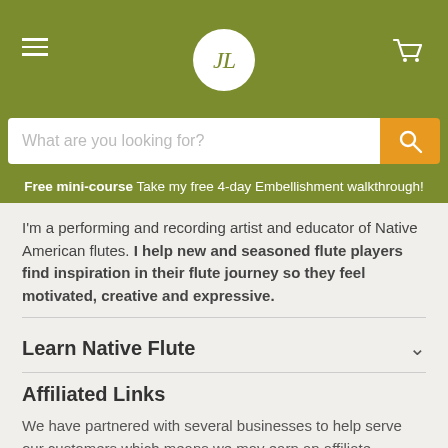[Figure (logo): Website header with olive/green background, hamburger menu icon on the left, JL logo in a white circle in the center, cart icon on the right]
[Figure (screenshot): Search bar with placeholder text 'What are you looking for?' and an orange search button with magnifying glass icon]
Free mini-course Take my free 4-day Embellishment walkthrough!
I'm a performing and recording artist and educator of Native American flutes. I help new and seasoned flute players find inspiration in their flute journey so they feel motivated, creative and expressive.
Learn Native Flute
Affiliated Links
We have partnered with several businesses to help serve our customers which means we may earn an affiliate commission when you buy through links on our site.